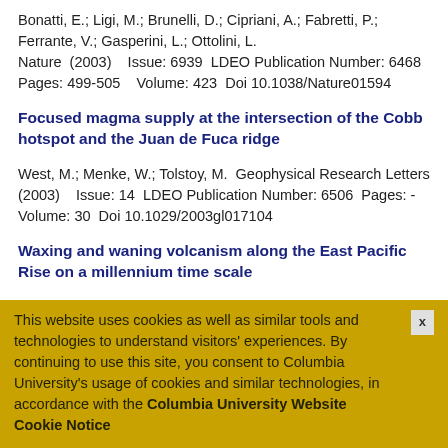Bonatti, E.; Ligi, M.; Brunelli, D.; Cipriani, A.; Fabretti, P.; Ferrante, V.; Gasperini, L.; Ottolini, L.
Nature  (2003)    Issue: 6939  LDEO Publication Number: 6468
Pages: 499-505    Volume: 423  Doi 10.1038/Nature01594
Focused magma supply at the intersection of the Cobb hotspot and the Juan de Fuca ridge
West, M.; Menke, W.; Tolstoy, M.  Geophysical Research Letters (2003)    Issue: 14  LDEO Publication Number: 6506  Pages: -  Volume: 30  Doi 10.1029/2003gl017104
Waxing and waning volcanism along the East Pacific Rise on a millennium time scale
Cormier, M. H.; Ryan, W. B. F.; Shah, A. K.; Jin, W.; Bradley, A. M.; Yoerger, D. R.
Geology  (2003)    Issue: 7  LDEO Publication Number: 6421
Pages: 633-636    Volume: 31
This website uses cookies as well as similar tools and technologies to understand visitors' experiences. By continuing to use this site, you consent to Columbia University's usage of cookies and similar technologies, in accordance with the Columbia University Website Cookie Notice
Consequences of diffusive reequilibration for the interpretation of melt inclusions